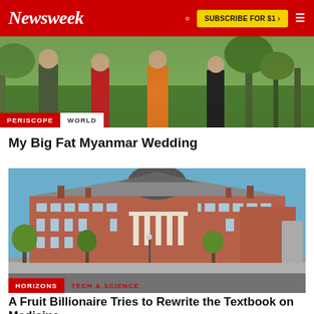Newsweek  SUBSCRIBE FOR $1 >
[Figure (photo): People standing outdoors in a wooded area, partially cropped at top]
PERISCOPE  WORLD
My Big Fat Myanmar Wedding
[Figure (photo): Large brick university or government building with dome and columns, blue sky, parking lot in foreground]
HORIZONS  TECH & SCIENCE
A Fruit Billionaire Tries to Rewrite the Textbook on Medicine